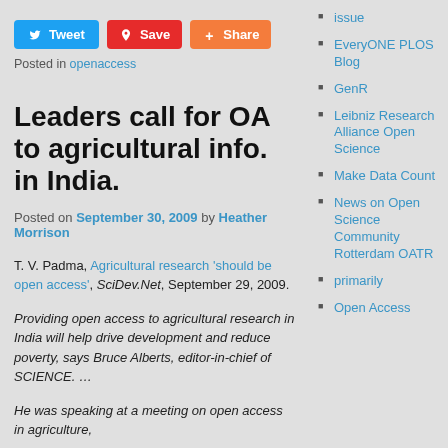[Figure (infographic): Social media sharing buttons: Tweet (blue), Save (red/Pinterest), Share (orange)]
Posted in openaccess
Leaders call for OA to agricultural info. in India.
Posted on September 30, 2009 by Heather Morrison
T. V. Padma, Agricultural research 'should be open access', SciDev.Net, September 29, 2009.
Providing open access to agricultural research in India will help drive development and reduce poverty, says Bruce Alberts, editor-in-chief of SCIENCE. …
He was speaking at a meeting on open access in agriculture,
issue
EveryONE PLOS Blog
GenR
Leibniz Research Alliance Open Science
Make Data Count
News on Open Science Community Rotterdam OATR
primarily
Open Access